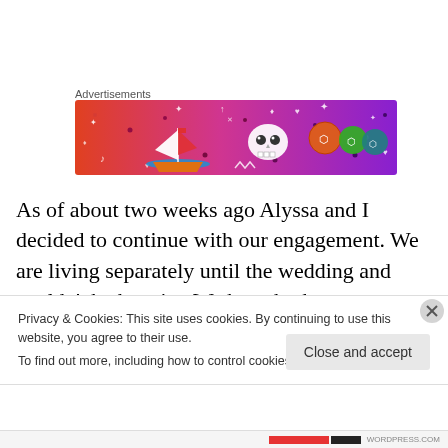Advertisements
[Figure (illustration): Colorful advertisement banner with gradient background from red/orange to purple, featuring cartoon illustrations: a sailboat on water, a skull, dice/polyhedral shapes, and various decorative elements like stars, music notes, hearts, and dots on a vibrant background.]
As of about two weeks ago Alyssa and I decided to continue with our engagement. We are living separately until the wedding and couldn't be happier. We have both grown so much in such a short period of time. I realized
Privacy & Cookies: This site uses cookies. By continuing to use this website, you agree to their use.
To find out more, including how to control cookies, see here: Cookie Policy
Close and accept